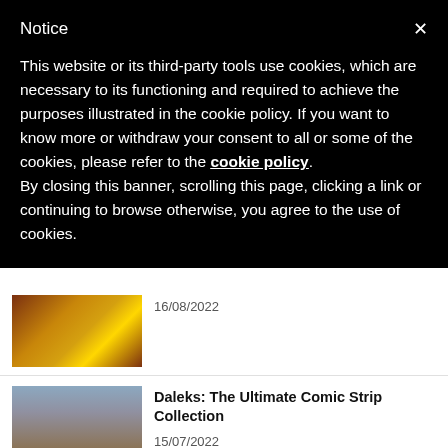Notice
This website or its third-party tools use cookies, which are necessary to its functioning and required to achieve the purposes illustrated in the cookie policy. If you want to know more or withdraw your consent to all or some of the cookies, please refer to the cookie policy.
By closing this banner, scrolling this page, clicking a link or continuing to browse otherwise, you agree to the use of cookies.
[Figure (photo): Partial magazine cover with yellow text reading INABLE, dark background, sci-fi imagery]
16/08/2022
[Figure (photo): Magazine cover showing Daleks - blue, red and other coloured Dalek robots against a rocky background, with DOCTOR WHO text at top]
Daleks: The Ultimate Comic Strip Collection
15/07/2022
[Figure (photo): Partial Doctor Who Magazine cover with colorful imagery]
Doctor Who Magazine 579 Has the